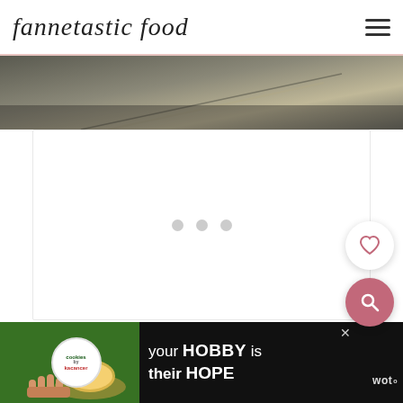fannetastic food
[Figure (photo): Partial food blog header image showing a dark grey/brown surface with a diagonal line, cropped at top]
[Figure (other): White content area with three grey loading dots centered, representing an ad slot or image loading placeholder]
[Figure (other): Floating white circular heart button (save/favorite) on right side]
[Figure (other): Floating pink/red circular search button on right side]
[Figure (other): Bottom advertisement banner with black background, cookies by kacancer badge image, text: your HOBBY is their HOPE, with close button and wot.no logo]